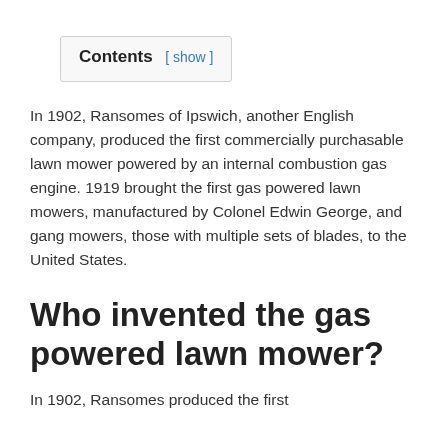Contents [ show ]
In 1902, Ransomes of Ipswich, another English company, produced the first commercially purchasable lawn mower powered by an internal combustion gas engine. 1919 brought the first gas powered lawn mowers, manufactured by Colonel Edwin George, and gang mowers, those with multiple sets of blades, to the United States.
Who invented the gas powered lawn mower?
In 1902, Ransomes produced the first